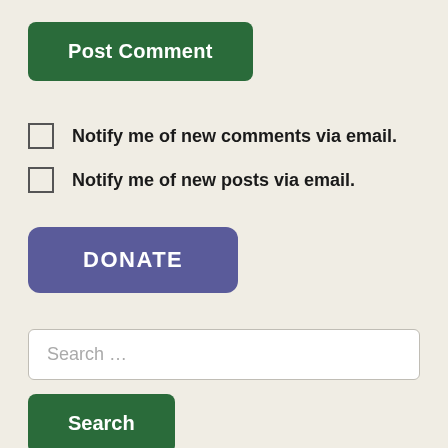Post Comment
Notify me of new comments via email.
Notify me of new posts via email.
DONATE
Search ...
Search
Archives